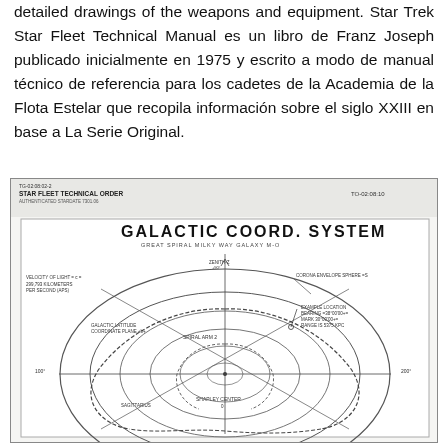detailed drawings of the weapons and equipment. Star Trek Star Fleet Technical Manual es un libro de Franz Joseph publicado inicialmente en 1975 y escrito a modo de manual técnico de referencia para los cadetes de la Academia de la Flota Estelar que recopila información sobre el siglo XXIII en base a La Serie Original.
[Figure (other): Galactic Coord. System diagram from Star Fleet Technical Manual. Shows Great Spiral Milky Way Galaxy M-O with galactic coordinate system, spiral arms, Shapley Center, zenith, corona envelope sphere, galactic latitude coordinate plane, and example location bearing/mark/range. Technical order TO-02:08:10.]